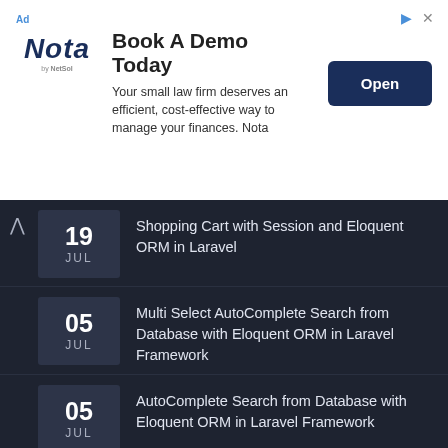[Figure (other): Advertisement banner: Book A Demo Today - Nota by NetSol. Your small law firm deserves an efficient, cost-effective way to manage your finances. Nota. Open button.]
Shopping Cart with Session and Eloquent ORM in Laravel - 19 JUL
Multi Select AutoComplete Search from Database with Eloquent ORM in Laravel Framework - 05 JUL
AutoComplete Search from Database with Eloquent ORM in Laravel Framework - 05 JUL
Infomation
About Us
Terms of Use